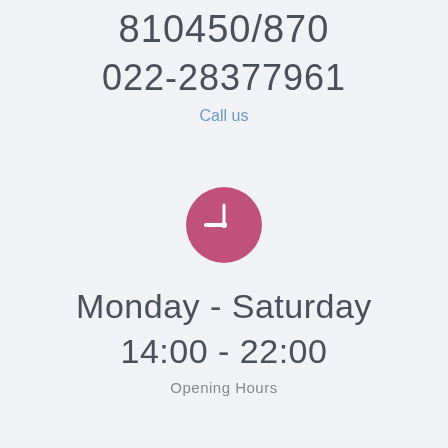810450/870
022-28377961
Call us
[Figure (illustration): Pink/magenta circle with a white clock icon showing approximately 9 o'clock]
Monday - Saturday
14:00 - 22:00
Opening Hours